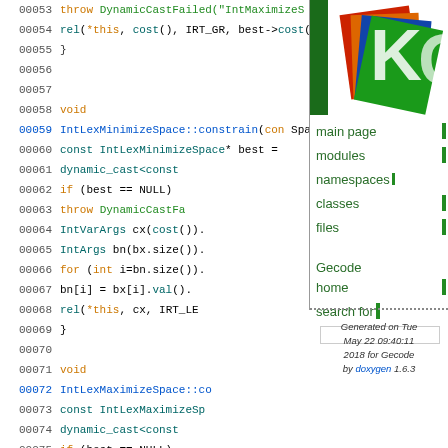[Figure (logo): Gecode/Gecodis logo - colorful overlapping card shapes (red, orange, blue, green) with white K letter shape]
00053   throw DynamicCastFailed("IntMaximizeS
00054   rel(*this, cost(), IRT_GR, best->cost()
00055   }
00056
00057
00058   void
00059   IntLexMinimizeSpace::constrain(con Spa
00060       const IntLexMinimizeSpace* best =
00061         dynamic_cast<const
00062       if (best == NULL)
00063         throw DynamicCastFa
00064       IntVarArgs cx(cost()).
00065       IntArgs bn(bx.size()).
00066       for (int i=bn.size();
00067         bn[i] = bx[i].val()
00068       rel(*this, cx, IRT_LE
00069     }
00070
00071     void
00072     IntLexMaximizeSpace::co
00073       const IntLexMaximizeSp
00074         dynamic_cast<const
00075       if (best == NULL)
00076         throw DynamicCastFa
00077       IntVarArgs cx(cost()).
00078       IntArgs bn(bx.size()).
00079       for (int i=bn.size();
00080         bn[i] = bx[i].val();
00081       rel(*this, cx, IRT_GR,
00082     }
main page
modules
namespaces
classes
files
Gecode home
search for
Generated on Tue May 22 09:40:11 2018 for Gecode by doxygen 1.6.3